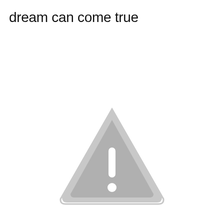dream can come true
[Figure (illustration): A gray warning triangle icon with a white exclamation mark inside, centered in the lower half of the page.]